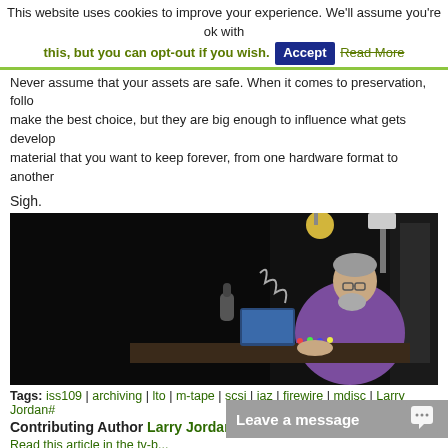This website uses cookies to improve your experience. We'll assume you're ok with this, but you can opt-out if you wish. Accept Read More
Never assume that your assets are safe. When it comes to preservation, follow the best choice, but they are big enough to influence what gets developed. material that you want to keep forever, from one hardware format to another
Sigh.
[Figure (photo): A person in a purple shirt working at a studio desk with a laptop and microphone, with studio lights in a dark background.]
Tags: iss109 | archiving | lto | m-tape | scsi | jaz | firewire | mdisc | Larry Jordan#
Contributing Author Larry Jordan#
Read this article in the tv-b...
Article Copyright tv-bay...